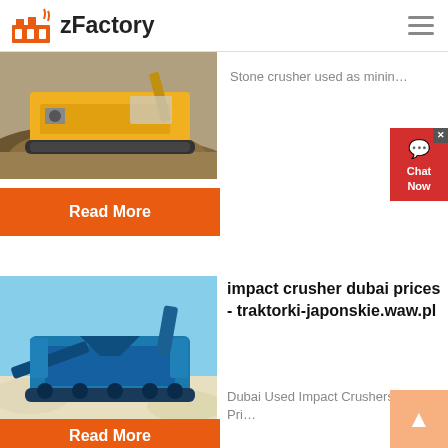zFactory
[Figure (photo): Yellow construction/mining machine on rocky terrain with dirt mounds]
Stone crusher used as minin...
Read More
[Figure (photo): Blue impact crusher machine on sandy ground with white aggregate piles]
impact crusher dubai prices - traktorki-japonskie.waw.pl
Dubai Used Impact Crushers Pri...
Read More